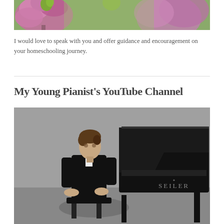[Figure (photo): Close-up photo of pink and purple flowers (appears to be hellebores or similar blooms) with green center buds, blurred background]
I would love to speak with you and offer guidance and encouragement on your homeschooling journey.
My Young Pianist's YouTube Channel
[Figure (photo): Black and white photo of a young boy in a black tuxedo with bow tie, seated on a piano bench next to a Seiler grand piano on a stage]